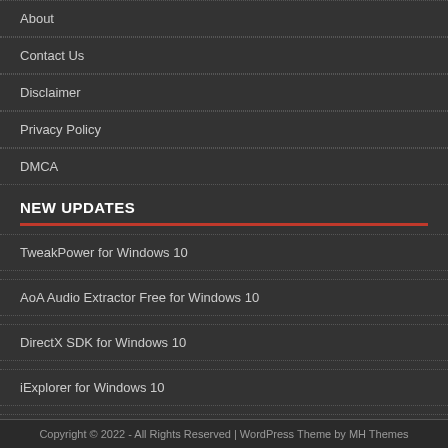About
Contact Us
Disclaimer
Privacy Policy
DMCA
NEW UPDATES
TweakPower for Windows 10
AoA Audio Extractor Free for Windows 10
DirectX SDK for Windows 10
iExplorer for Windows 10
TEncoder Video Converter for Windows 10
Copyright © 2022 - All Rights Reserved | WordPress Theme by MH Themes